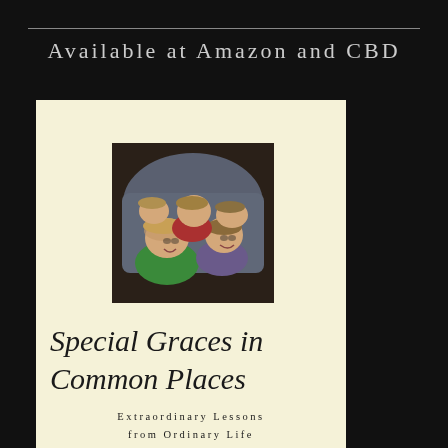Available at Amazon and CBD
[Figure (photo): Book cover for 'Special Graces in Common Places' showing a photo of children hugging/cuddling together on a light yellow/cream background]
Special Graces in Common Places
Extraordinary Lessons from Ordinary Life